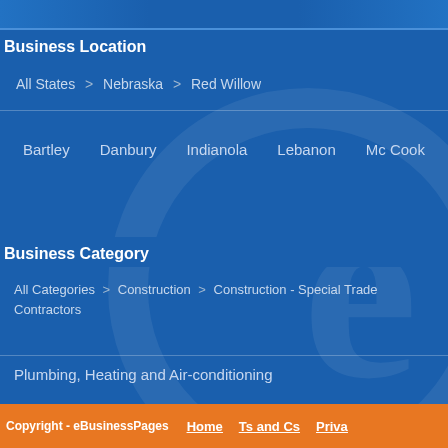Business Location
All States > Nebraska > Red Willow
Bartley
Danbury
Indianola
Lebanon
Mc Cook
Business Category
All Categories > Construction > Construction - Special Trade Contractors
Plumbing, Heating and Air-conditioning
Copyright - eBusinessPages   Home   Ts and Cs   Priva